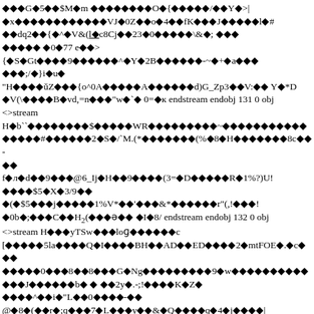♦♦♦G♦5♦♦$M♦m ♦♦♦♦♦♦♦♦O♦{♦♦♦♦♦/♦♦Y♦>|
♦x♦♦♦♦♦♦♦♦♦♦♦♦VJ♦0Z♦♦o♦4♦♦fK♦♦♦J♦♦♦♦♦l♦#
♦♦dq2♦♦{♦^♦V&(l♦c8Cj♦♦23♦0♦♦♦♦♦\&♦; ♦♦♦
♦♦♦♦♦ ♦0♦77 e♦♦>
{♦S♦Gt♦♦♦♦9♦♦♦♦♦♦^♦Y♦2B♦♦♦♦♦♦-~♦+♦a♦♦♦
♦♦♦;/♦}i♦u♦
"H♦♦♦♦ŭZ♦♦♦{o^0A♦♦♦♦♦A♦♦♦♦♦♦d)G_Zp3♦♦V:♦♦ Y♦*D
♦V(\♦♦♦♦B♦vd,=n♦♦♦"w♦`♦ 0=♦к endstream endobj 131 0 obj
<>stream
H♦b``♦♦♦♦♦♦♦♦$♦♦♦♦♦WR♦♦♦♦♦♦♦♦♦~♦♦♦♦♦♦♦♦♦♦♦
♦♦♦♦♦#♦♦♦♦♦♦2♦S♦/`M.(*♦♦♦♦♦♦♦(%♦8♦H♦♦♦♦♦♦♦8c♦♦-
♦♦
f♦л♦d♦♦9♦♦♦@6_Ij♦H♦♦9♦♦♦♦(3=♦D♦♦♦♦♦R♦1%?)U!
♦♦♦♦$5♦X♦3/9♦♦
♦(♦$5♦♦♦j♦♦♦♦♦1%V*♦♦'♦♦♦&*♦♦♦♦♦♦r"(,!♦♦♦!
♦0b♦;♦♦♦C♦♦H2(♦♦♦ɘ♦♦ ♦I♦8/ endstream endobj 132 0 obj
<>stream H♦♦♦yTSw♦♦♦loɢ♦♦♦♦♦♦c
[♦♦♦♦♦5la♦♦♦♦Q♦I♦♦♦♦BH♦♦AD♦♦ED♦♦♦♦2♦mtFOE♦.♦c♦♦♦
♦♦♦♦♦0♦♦♦8♦♦8♦♦♦G♦Ng♦♦♦♦♦♦♦♦♦9♦w♦♦♦♦♦♦♦♦♦♦
♦♦♦J♦♦♦♦♦♦b♦ ♦ ♦♦2y♦.-;!♦♦♦♦K♦Z♦
♦♦♦♦^♦♦i♦"L♦♦0♦♦♦♦-♦♦
@♦8♦(♦♦r♦;q♦♦♦7♦L♦♦♦y♦♦&♦Q♦♦♦♦q♦4♦j♦♦♦♦|
♦9♦♦
♦V♦♦)g♦B♦0♦i♦W♦♦♦8#♦8wp♦♦♦8_♦0t¢Q♦♦♦♦♦